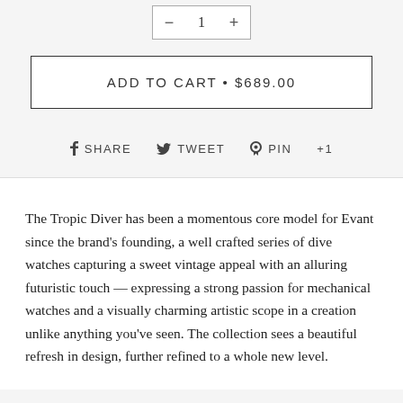ADD TO CART • $689.00
f SHARE   ✓ TWEET   ♥ PIN   +1
The Tropic Diver has been a momentous core model for Evant since the brand's founding, a well crafted series of dive watches capturing a sweet vintage appeal with an alluring futuristic touch — expressing a strong passion for mechanical watches and a visually charming artistic scope in a creation unlike anything you've seen. The collection sees a beautiful refresh in design, further refined to a whole new level.